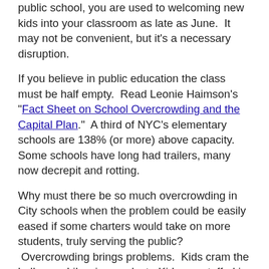public school, you are used to welcoming new kids into your classroom as late as June.  It may not be convenient, but it's a necessary disruption.
If you believe in public education the class must be half empty.  Read Leonie Haimson's "Fact Sheet on School Overcrowding and the Capital Plan."  A third of NYC's elementary schools are 138% (or more) above capacity.  Some schools have long had trailers, many now decrepit and rotting.
Why must there be so much overcrowding in City schools when the problem could be easily eased if some charters would take on more students, truly serving the public?  Overcrowding brings problems.  Kids cram the hallways. Libraries are lost.  Kids are stuffed in closets to receive special services.  School lose their gyms.  Lunch periods may begin before people have had their breakfast.  Teachers face too many students with too many needs.  Too many obstacles to success.  Most recently, the arbitrator's solution to over-sized high-school classes has been relieving teachers of their Circular 6 duty during their free period; teachers need no longer tutor or run a club.  But how...